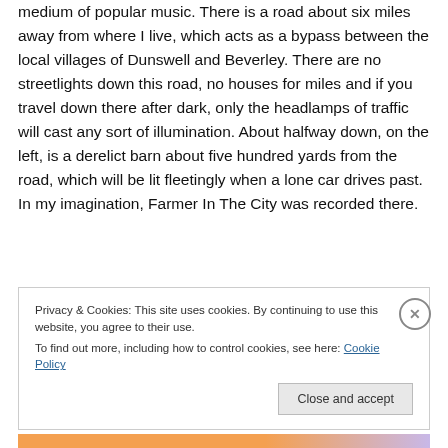medium of popular music. There is a road about six miles away from where I live, which acts as a bypass between the local villages of Dunswell and Beverley. There are no streetlights down this road, no houses for miles and if you travel down there after dark, only the headlamps of traffic will cast any sort of illumination. About halfway down, on the left, is a derelict barn about five hundred yards from the road, which will be lit fleetingly when a lone car drives past. In my imagination, Farmer In The City was recorded there.
Privacy & Cookies: This site uses cookies. By continuing to use this website, you agree to their use.
To find out more, including how to control cookies, see here: Cookie Policy